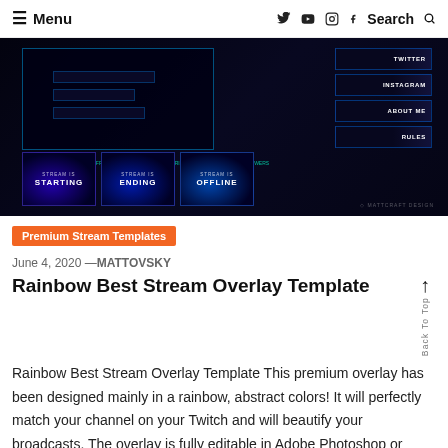Menu  [social icons: twitter, youtube, instagram, facebook]  Search
[Figure (screenshot): Dark gaming/streaming overlay template preview showing panels, 'STARTING', 'ENDING', 'OFFLINE' screens with rainbow/holographic abstract effects, and social media button panels on the right (TWITTER, INSTAGRAM, ABOUT ME, RULES).]
Premium Stream Templates
June 4, 2020 —MATTOVSKY
Rainbow Best Stream Overlay Template
Rainbow Best Stream Overlay Template This premium overlay has been designed mainly in a rainbow, abstract colors! It will perfectly match your channel on your Twitch and will beautify your broadcasts. The overlay is fully editable in Adobe Photoshop or